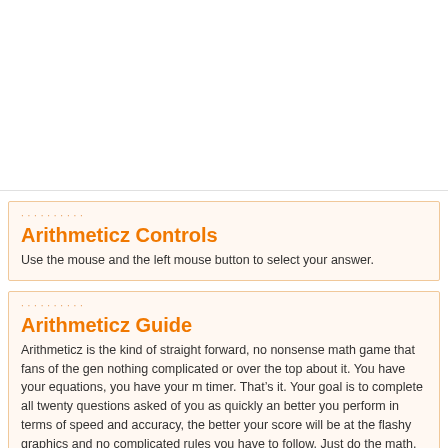[Figure (other): White space / advertisement area at top of page]
Arithmeticz Controls
Use the mouse and the left mouse button to select your answer.
Arithmeticz Guide
Arithmeticz is the kind of straight forward, no nonsense math game that fans of the gen nothing complicated or over the top about it. You have your equations, you have your m timer. That's it. Your goal is to complete all twenty questions asked of you as quickly an better you perform in terms of speed and accuracy, the better your score will be at the flashy graphics and no complicated rules you have to follow. Just do the math. It's a qu a ton of fun.
Arithmeticz offers two levels of difficulty, easy and hard, so fans of math games will be regardless of their skill level. Those with weaker math skills are going to have a hard ti what difficulty level they choose but that's really what makes the game so much fun fo